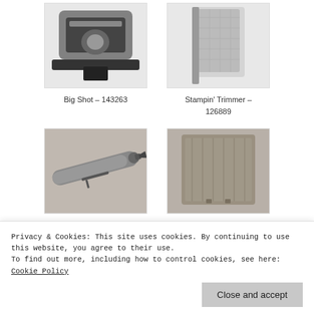[Figure (photo): Photo of Big Shot cutting machine]
Big Shot – 143263
[Figure (photo): Photo of Stampin' Trimmer]
Stampin' Trimmer – 126889
[Figure (photo): Photo of Heat Tool (Us And Canada)]
Heat Tool (Us And Canada) – 129053
[Figure (photo): Photo of Simply Scored scoring tool]
Simply Scored – 122334
Privacy & Cookies: This site uses cookies. By continuing to use this website, you agree to their use.
To find out more, including how to control cookies, see here: Cookie Policy
Close and accept
102300
103579